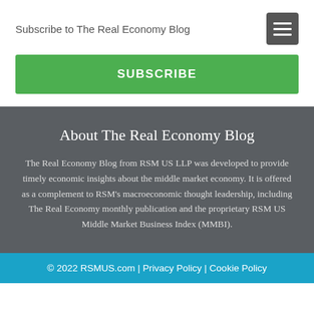Subscribe to The Real Economy Blog
SUBSCRIBE
About The Real Economy Blog
The Real Economy Blog from RSM US LLP was developed to provide timely economic insights about the middle market economy. It is offered as a complement to RSM's macroeconomic thought leadership, including The Real Economy monthly publication and the proprietary RSM US Middle Market Business Index (MMBI).
© 2022 RSMUS.com | Privacy Policy | Cookie Policy